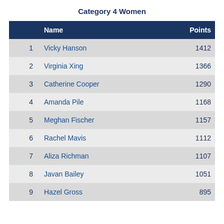Category 4 Women
|  | Name | Points |
| --- | --- | --- |
| 1 | Vicky Hanson | 1412 |
| 2 | Virginia Xing | 1366 |
| 3 | Catherine Cooper | 1290 |
| 4 | Amanda Pile | 1168 |
| 5 | Meghan Fischer | 1157 |
| 6 | Rachel Mavis | 1112 |
| 7 | Aliza Richman | 1107 |
| 8 | Javan Bailey | 1051 |
| 9 | Hazel Gross | 895 |